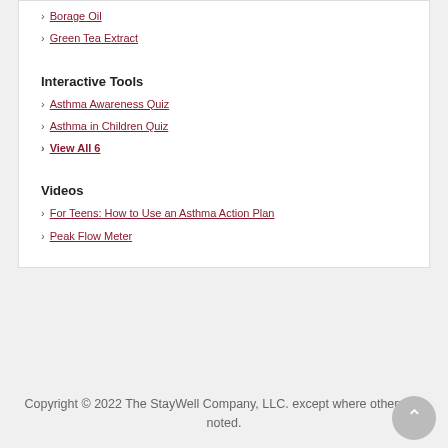Borage Oil
Green Tea Extract
Interactive Tools
Asthma Awareness Quiz
Asthma in Children Quiz
View All 6
Videos
For Teens: How to Use an Asthma Action Plan
Peak Flow Meter
Copyright © 2022 The StayWell Company, LLC. except where otherwise noted.